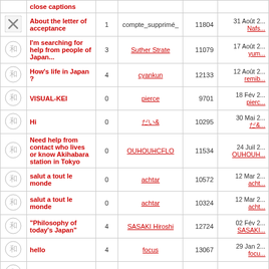|  | Topic | Replies | Author | Views | Last Post |
| --- | --- | --- | --- | --- | --- |
| [close icon] | close captions |  |  |  |  |
| [X icon] | About the letter of acceptance | 1 | compte_supprimé_ | 11804 | 31 Août 2... Nafs... |
| [和 icon] | I'm searching for help from people of Japan... | 3 | Suther Strate | 11079 | 17 Août 2... yum... |
| [和 icon] | How's life in Japan ? | 4 | cyankun | 12133 | 12 Août 2... remib... |
| [和 icon] | VISUAL-KEI | 0 | pierce | 9701 | 18 Fév 2... pierc... |
| [和 icon] | Hi | 0 | &#12384;&#12356;& | 10295 | 30 Mai 2... &#12384;&... |
| [和 icon] | Need help from contact who lives or know Akihabara station in Tokyo | 0 | OUHOUHCFLO | 11534 | 24 Juil 2... OUHOUH... |
| [和 icon] | salut a tout le monde | 0 | achtar | 10572 | 12 Mar 2... acht... |
| [和 icon] | salut a tout le monde | 0 | achtar | 10324 | 12 Mar 2... acht... |
| [和 icon] | "Philosophy of today's Japan" | 4 | SASAKI Hiroshi | 12724 | 02 Fév 2... SASAKI... |
| [和 icon] | hello | 4 | focus | 13067 | 29 Jan 2... focu... |
| [和 icon] |  |  |  |  |  |